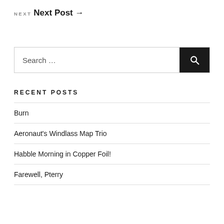NEXT
Next Post →
Search …
RECENT POSTS
Burn
Aeronaut's Windlass Map Trio
Habble Morning in Copper Foil!
Farewell, Pterry